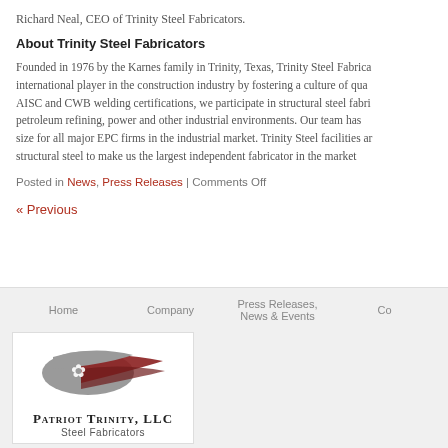Richard Neal, CEO of Trinity Steel Fabricators.
About Trinity Steel Fabricators
Founded in 1976 by the Karnes family in Trinity, Texas, Trinity Steel Fabricators has grown to become an international player in the construction industry by fostering a culture of quality and safety. Holding AISC and CWB welding certifications, we participate in structural steel fabrication for petrochemical, petroleum refining, power and other industrial environments. Our team has grown to be the preferred size for all major EPC firms in the industrial market. Trinity Steel facilities and capabilities in structural steel to make us the largest independent fabricator in the market.
Posted in News, Press Releases | Comments Off
« Previous
Home   Company   Press Releases, News & Events   Co...
[Figure (logo): Patriot Trinity, LLC Steel Fabricators logo with eagle/flag graphic in grey and dark red]